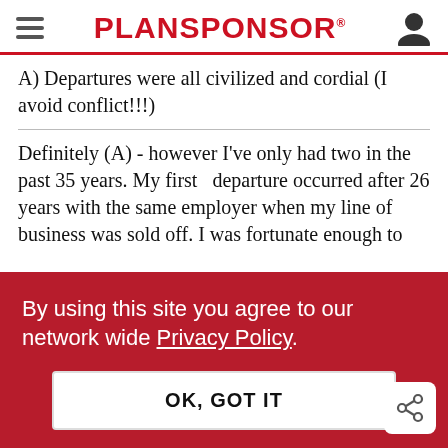PLANSPONSOR
A) Departures were all civilized and cordial (I avoid conflict!!!)
Definitely (A) - however I've only had two in the past 35 years. My first   departure occurred after 26 years with the same employer when my line of business was sold off. I was fortunate enough to
By using this site you agree to our network wide Privacy Policy.
OK, GOT IT